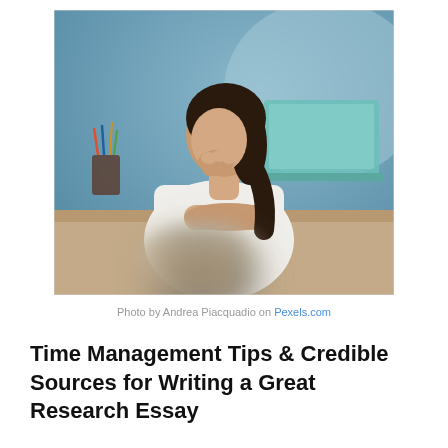[Figure (photo): A young woman with dark hair sitting at a desk in a thinking pose, chin resting on hand, with a laptop and coffee mug in the foreground, and art supplies in the background. The image has a soft, blurred foreground bokeh effect.]
Photo by Andrea Piacquadio on Pexels.com
Time Management Tips & Credible Sources for Writing a Great Research Essay